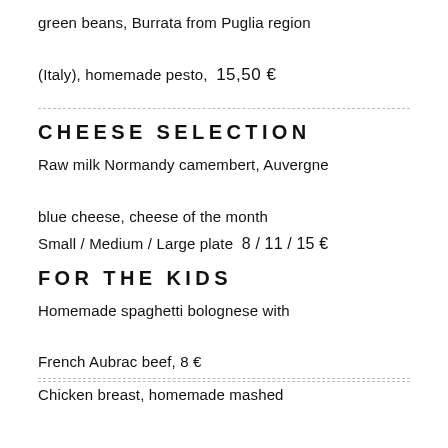green beans, Burrata from Puglia region (Italy), homemade pesto,  15,50 €
CHEESE SELECTION
Raw milk Normandy camembert, Auvergne blue cheese, cheese of the month
Small / Medium / Large plate  8 / 11 / 15 €
FOR THE KIDS
Homemade spaghetti bolognese with French Aubrac beef, 8 €
Chicken breast, homemade mashed